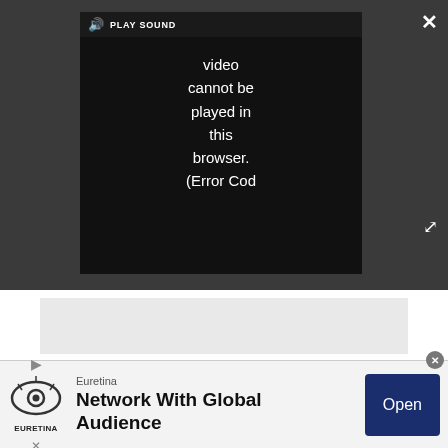[Figure (screenshot): Video player overlay on dark gray background showing error message 'PLAY SOUND Video cannot be played in this browser. (Error Cod' with speaker icon, close X button, and expand arrows]
[Figure (screenshot): Gray placeholder/advertisement box below video area]
Of course, we still recommend sticking with mainstream processors like Ryzen 7/5 or Core i7/i5 for the best gaming value. That recommendation applies to both Intel and AMD high-end CPUs.
[Figure (screenshot): Chart header area showing 'Adobe Price Efficiency - Without Illustrator Processor Cost Over Seconds (Bottom Left Corner is Best)' and tom's HARDWARE logo with 'Image 1 of 7']
[Figure (screenshot): Advertisement banner for Euretina 'Network With Global Audience' with logo and Open button]